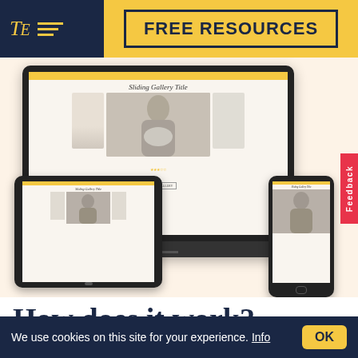[Figure (logo): TE logo with gold lines on dark navy background]
FREE RESOURCES
[Figure (screenshot): Website displayed on desktop monitor, tablet, and phone showing a Sliding Gallery Title page with a bride photo in black and white]
[Figure (other): Feedback button on right side in red]
How does it work?
We use cookies on this site for your experience. Info
OK